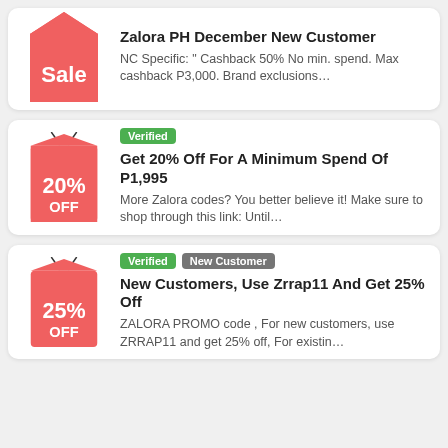[Figure (illustration): Red price tag with 'Sale' text, partially cut off at top]
Zalora PH December New Customer
NC Specific: " Cashback 50% No min. spend. Max cashback P3,000. Brand exclusions…
[Figure (illustration): Red price tag with '20% OFF' text and Verified badge]
Get 20% Off For A Minimum Spend Of P1,995
More Zalora codes? You better believe it! Make sure to shop through this link: Until…
[Figure (illustration): Red price tag with '25% OFF' text and Verified + New Customer badges]
New Customers, Use Zrrap11 And Get 25% Off
ZALORA PROMO code , For new customers, use ZRRAP11 and get 25% off, For existin…